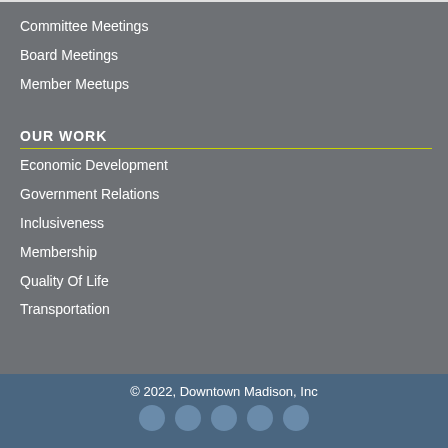Committee Meetings
Board Meetings
Member Meetups
OUR WORK
Economic Development
Government Relations
Inclusiveness
Membership
Quality Of Life
Transportation
© 2022, Downtown Madison, Inc